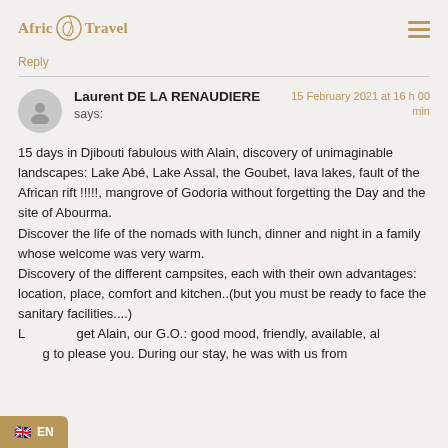Africarne Travel
Reply
Laurent DE LA RENAUDIERE says: 15 February 2021 at 16 h 00 min
15 days in Djibouti fabulous with Alain, discovery of unimaginable landscapes: Lake Abé, Lake Assal, the Goubet, lava lakes, fault of the African rift !!!!!, mangrove of Godoria without forgetting the Day and the site of Abourma.
Discover the life of the nomads with lunch, dinner and night in a family whose welcome was very warm.
Discovery of the different campsites, each with their own advantages: location, place, comfort and kitchen..(but you must be ready to face the sanitary facilities....)
Let me forget Alain, our G.O.: good mood, friendly, available, always trying to please you. During our stay, he was with us from